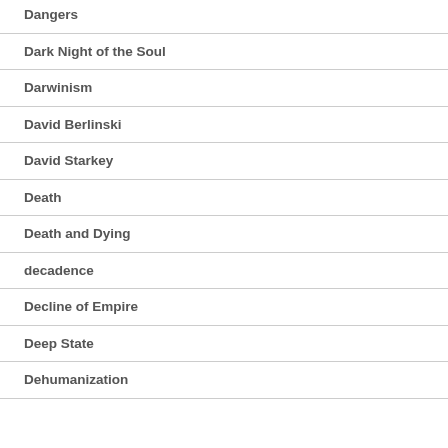Dangers
Dark Night of the Soul
Darwinism
David Berlinski
David Starkey
Death
Death and Dying
decadence
Decline of Empire
Deep State
Dehumanization